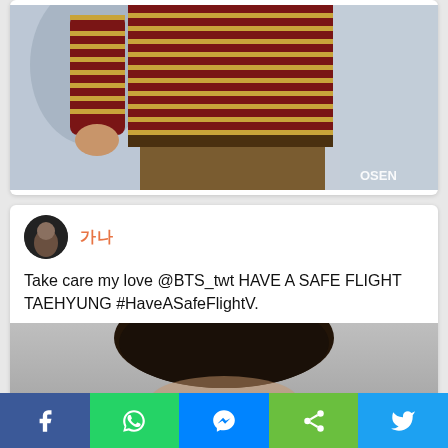[Figure (photo): Photo of a person wearing a red and gold striped long-sleeve shirt with brown trousers, with OSEN watermark in bottom right corner]
[Figure (screenshot): Tweet screenshot showing avatar, orange username characters (Korean), and tweet text: Take care my love @BTS_twt HAVE A SAFE FLIGHT TAEHYUNG #HaveASafeFlightV. with a partially visible photo of a person's dark hair below]
Social share bar with Facebook, WhatsApp, Messenger, Share, and Twitter buttons